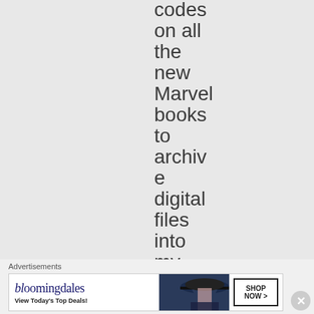codes on all the new Marvel books to archive digital files into my accou
Advertisements
[Figure (other): Bloomingdale's advertisement banner with text 'View Today's Top Deals!' and 'SHOP NOW >' button, featuring a woman in a wide-brim hat]